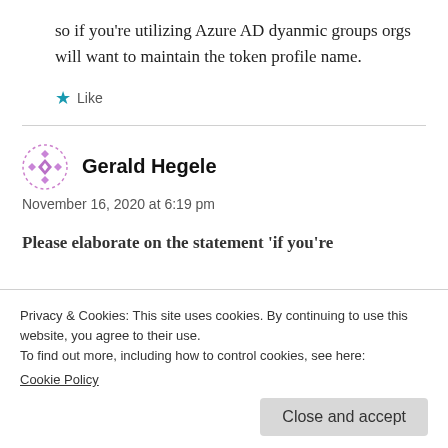so if you're utilizing Azure AD dyanmic groups orgs will want to maintain the token profile name.
★ Like
Gerald Hegele
November 16, 2020 at 6:19 pm
Please elaborate on the statement 'if you're
Privacy & Cookies: This site uses cookies. By continuing to use this website, you agree to their use.
To find out more, including how to control cookies, see here:
Cookie Policy
Close and accept
how does the token code expire and not the QR